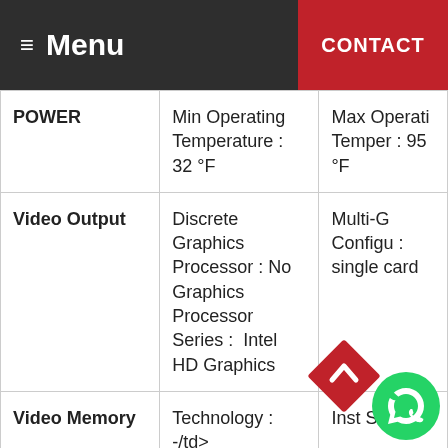Menu | CONTACT
| Category | Spec 1 | Spec 2 |
| --- | --- | --- |
| POWER | Min Operating Temperature : 32 °F | Max Operating Temperature : 95 °F |
| Video Output | Discrete Graphics Processor : No Graphics Processor Series :  Intel HD Graphics | Multi-GPU Configuration : single card |
| Video Memory | Technology : -/td> | Installed Size : |